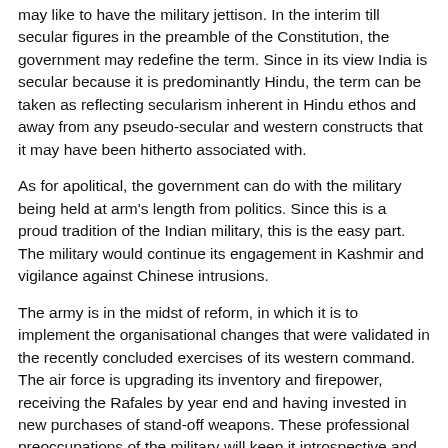may like to have the military jettison. In the interim till secular figures in the preamble of the Constitution, the government may redefine the term. Since in its view India is secular because it is predominantly Hindu, the term can be taken as reflecting secularism inherent in Hindu ethos and away from any pseudo-secular and western constructs that it may have been hitherto associated with.
As for apolitical, the government can do with the military being held at arm's length from politics. Since this is a proud tradition of the Indian military, this is the easy part. The military would continue its engagement in Kashmir and vigilance against Chinese intrusions.
The army is in the midst of reform, in which it is to implement the organisational changes that were validated in the recently concluded exercises of its western command. The air force is upgrading its inventory and firepower, receiving the Rafales by year end and having invested in new purchases of stand-off weapons. These professional preoccupations of the military will keep it introspective and away from any eddies from the making of New India.
Even so, if precedent is any guide, the government is likely to continue deep selection of service chiefs. The last army chief selection served it rather well in implementing its Kashmir strategy, that currently accounts for over 600 youth killed there, over 100 of which only this year.